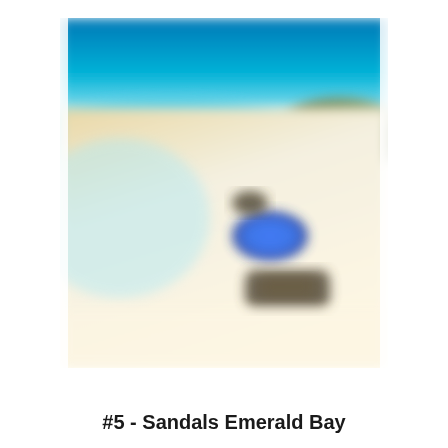[Figure (photo): A blurred beach scene showing white sand with a blue beach umbrella and dark items (possibly beach chairs or bags) resting on the sand. The ocean and a bright blue sky are visible in the background. The image is soft-focus/blurred.]
#5 - Sandals Emerald Bay